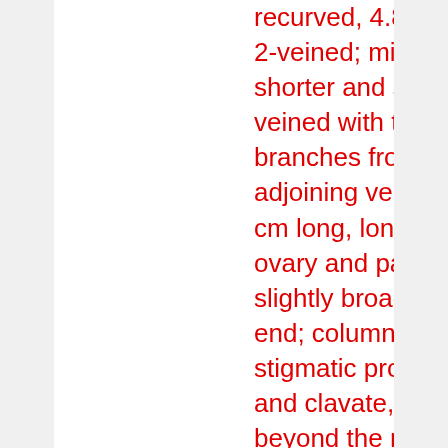recurved, 4.8 mm long, 2-veined; midlobe shorter and straight, 1-veined with two branches from the adjoining veins; spur 1.3 cm long, longer than the ovary and parallel to it, slightly broader at the end; column minute; stigmatic processes long and clavate, projecting beyond the mouth of the spur. Anther lateral, 2-loculed, tubes short, upcurved; pollinia 2, pyriform, 0.8 x 0.6 mm; caudicles short and glands small. Ovary with pedicels